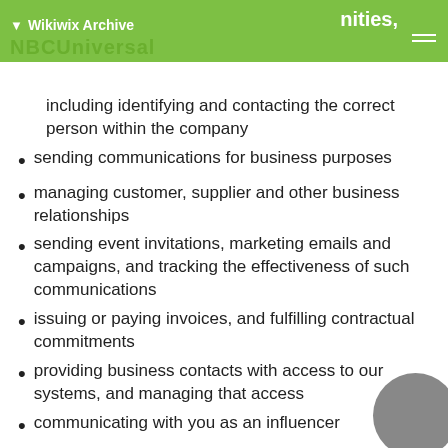Wikiwix Archive | nities, NBCUniversal
including identifying and contacting the correct person within the company
sending communications for business purposes
managing customer, supplier and other business relationships
sending event invitations, marketing emails and campaigns, and tracking the effectiveness of such communications
issuing or paying invoices, and fulfilling contractual commitments
providing business contacts with access to our systems, and managing that access
communicating with you as an influencer